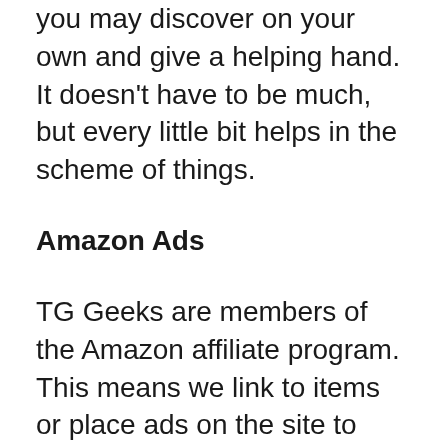you may discover on your own and give a helping hand. It doesn't have to be much, but every little bit helps in the scheme of things.
Amazon Ads
TG Geeks are members of the Amazon affiliate program. This means we link to items or place ads on the site to help defray the cost of this venture. We would appreciate it if you could at least click on an ad every so often – or follow a link to a product we're excited to about — so Amazon knows we're doing our best. It would be much